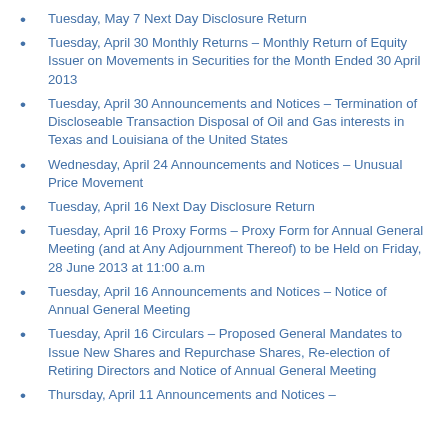Tuesday, May 7 Next Day Disclosure Return
Tuesday, April 30 Monthly Returns – Monthly Return of Equity Issuer on Movements in Securities for the Month Ended 30 April 2013
Tuesday, April 30 Announcements and Notices – Termination of Discloseable Transaction Disposal of Oil and Gas interests in Texas and Louisiana of the United States
Wednesday, April 24 Announcements and Notices – Unusual Price Movement
Tuesday, April 16 Next Day Disclosure Return
Tuesday, April 16 Proxy Forms – Proxy Form for Annual General Meeting (and at Any Adjournment Thereof) to be Held on Friday, 28 June 2013 at 11:00 a.m
Tuesday, April 16 Announcements and Notices – Notice of Annual General Meeting
Tuesday, April 16 Circulars – Proposed General Mandates to Issue New Shares and Repurchase Shares, Re-election of Retiring Directors and Notice of Annual General Meeting
Thursday, April 11 Announcements and Notices –